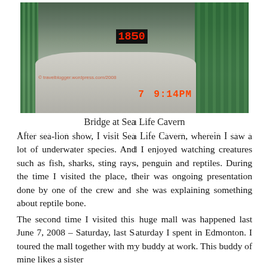[Figure (photo): Indoor photo of a bridge walkway at Sea Life Cavern, with green fence railings on both sides, showing a curving ramp, an LED clock display, and a red timestamp reading '7 9:14PM' in the lower portion. The photo appears to be taken inside a large mall.]
Bridge at Sea Life Cavern
After sea-lion show, I visit Sea Life Cavern, wherein I saw a lot of underwater species. And I enjoyed watching creatures such as fish, sharks, sting rays, penguin and reptiles. During the time I visited the place, their was ongoing presentation done by one of the crew and she was explaining something about reptile bone.
The second time I visited this huge mall was happened last June 7, 2008 – Saturday, last Saturday I spent in Edmonton. I toured the mall together with my buddy at work. This buddy of mine likes a sister